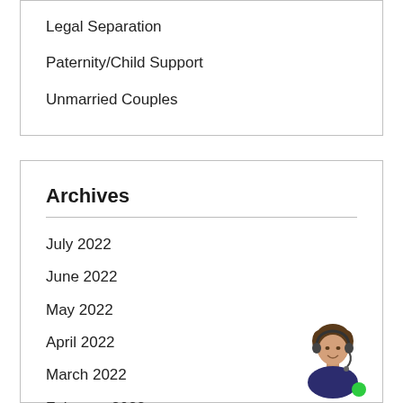Legal Separation
Paternity/Child Support
Unmarried Couples
Archives
July 2022
June 2022
May 2022
April 2022
March 2022
February 2022